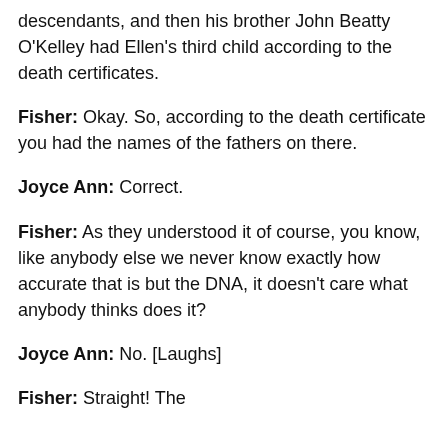descendants, and then his brother John Beatty O'Kelley had Ellen's third child according to the death certificates.
Fisher: Okay. So, according to the death certificate you had the names of the fathers on there.
Joyce Ann: Correct.
Fisher: As they understood it of course, you know, like anybody else we never know exactly how accurate that is but the DNA, it doesn't care what anybody thinks does it?
Joyce Ann: No. [Laughs]
Fisher: Straight! The last character of the...